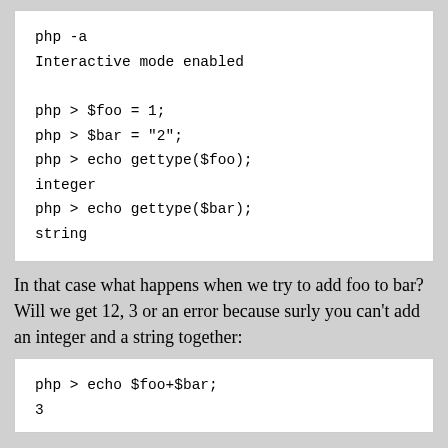[Figure (screenshot): Code block showing PHP interactive mode session with gettype() calls]
In that case what happens when we try to add foo to bar? Will we get 12, 3 or an error because surly you can't add an integer and a string together:
[Figure (screenshot): Code block showing PHP interactive mode echo $foo+$bar; with result 3]